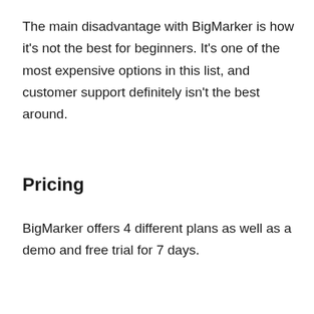The main disadvantage with BigMarker is how it's not the best for beginners. It's one of the most expensive options in this list, and customer support definitely isn't the best around.
Pricing
BigMarker offers 4 different plans as well as a demo and free trial for 7 days.